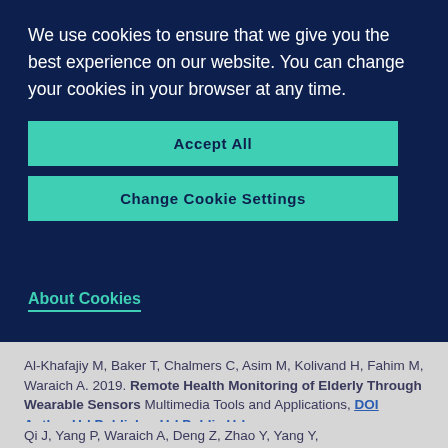We use cookies to ensure that we give you the best experience on our website. You can change your cookies in your browser at any time.
Accept All
Change Cookie Settings
About Cookies
Al-Khafajiy M, Baker T, Chalmers C, Asim M, Kolivand H, Fahim M, Waraich A. 2019. Remote Health Monitoring of Elderly Through Wearable Sensors Multimedia Tools and Applications, DOI Author Url Publisher Url Public Url
Qi J, Yang P, Waraich A, Deng Z, Zhao Y, Yang Y,